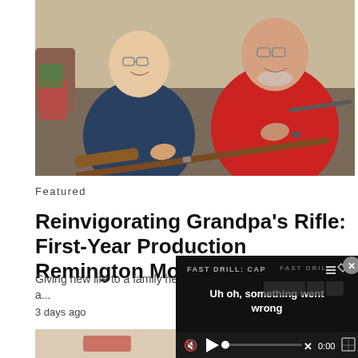[Figure (photo): Two people sitting on a couch, smiling and holding a long rifle/shotgun together. The person on the left wears glasses and a dark blue shirt; the person on the right is older, wearing a red shirt.]
Featured
Reinvigorating Grandpa's Rifle: First-Year Production Remington Model 37
Giving new life to a family heirloom roots, take a...
3 days ago
[Figure (screenshot): Video player overlay showing error message 'FAST DRILL: CAP— Uh oh, something went wrong' with playback controls at bottom including mute icon, play button, progress bar with X, timestamp 0:00, and fullscreen button. A close (x) button is in top right corner.]
[Figure (photo): Partial thumbnail of another article image showing a red pillow on what appears to be a rug or floor.]